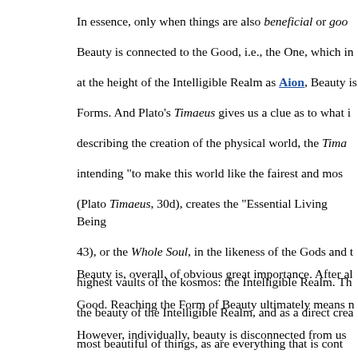In essence, only when things are also beneficial or goo Beauty is connected to the Good, i.e., the One, which in at the height of the Intelligible Realm as Aion, Beauty is Forms. And Plato's Timaeus gives us a clue as to what i describing the creation of the physical world, the Tima intending "to make this world like the fairest and mos (Plato Timaeus, 30d), creates the "Essential Living Being 43), or the Whole Soul, in the likeness of the Gods and t highest vaults of the kosmos: the Intelligible Realm. Th the beauty of the Intelligible Realm, and as a direct crea most beautiful of things, as are everything that is cont Iamblichus tells us is "all the other living beings" (Iamb means that the most beautiful of all things in creation souls.
Beauty is, overall, of obvious great importance. After al Good. Reaching the Form of Beauty ultimately means n However, individually, beauty is disconnected from us it then it ultimately can serve no function. How, then,